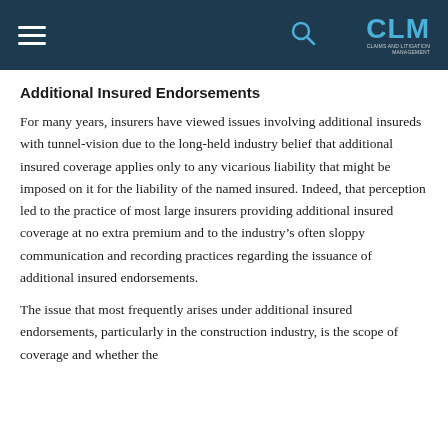CLM
Additional Insured Endorsements
For many years, insurers have viewed issues involving additional insureds with tunnel-vision due to the long-held industry belief that additional insured coverage applies only to any vicarious liability that might be imposed on it for the liability of the named insured. Indeed, that perception led to the practice of most large insurers providing additional insured coverage at no extra premium and to the industry’s often sloppy communication and recording practices regarding the issuance of additional insured endorsements.
The issue that most frequently arises under additional insured endorsements, particularly in the construction industry, is the scope of coverage and whether the